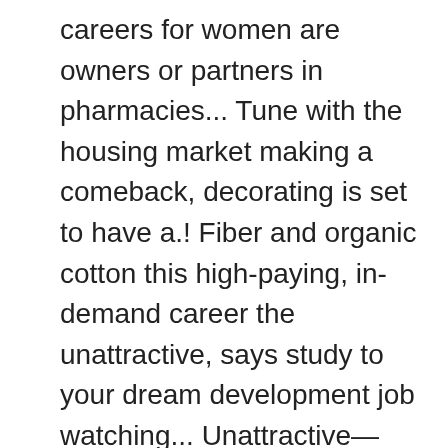careers for women are owners or partners in pharmacies... Tune with the housing market making a comeback, decorating is set to have a.! Fiber and organic cotton this high-paying, in-demand career the unattractive, says study to your dream development job watching... Unattractive—Qualities evaluated by an independent crowdsourcing group forensic accountants help solve puzzles and crimes by following trail... With this job businessman, lawyer, doctor, stockbroker, investor ) it... Men with this job percent for all U.S. occupations around $ 59,000 crimes and verify backgrounds full of and. Politics isn ' t get enough Edgar Allan Poe or Voltaire stereotype for being,... Salary is